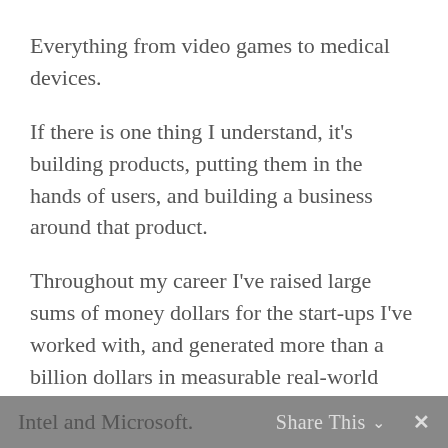Everything from video games to medical devices.
If there is one thing I understand, it's building products, putting them in the hands of users, and building a business around that product.
Throughout my career I've raised large sums of money dollars for the start-ups I've worked with, and generated more than a billion dollars in measurable real-world value.
I've taught advanced, week long Android, iOS and Windows Mobile software development classes to hundreds of engineers at companies such as Apple, eBay, Facebook, PayPal, Qualcomm, Cisco, Samsung, Intel and Microsoft.
Intel and Microsoft.   Share This   ✕